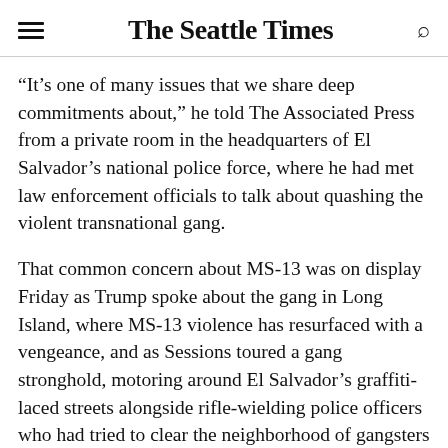The Seattle Times
“It’s one of many issues that we share deep commitments about,” he told The Associated Press from a private room in the headquarters of El Salvador’s national police force, where he had met law enforcement officials to talk about quashing the violent transnational gang.
That common concern about MS-13 was on display Friday as Trump spoke about the gang in Long Island, where MS-13 violence has resurfaced with a vengeance, and as Sessions toured a gang stronghold, motoring around El Salvador’s graffiti-laced streets alongside rifle-wielding police officers who had tried to clear the neighborhood of gangsters before he arrived. MS-13 has roots both in